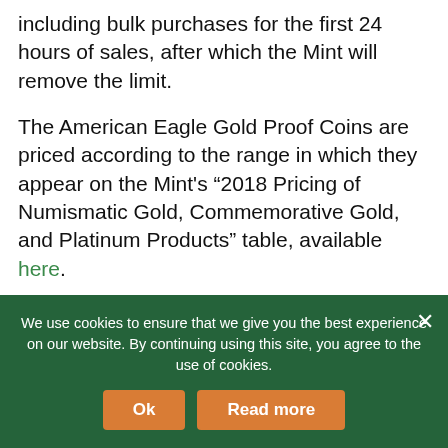including bulk purchases for the first 24 hours of sales, after which the Mint will remove the limit.
The American Eagle Gold Proof Coins are priced according to the range in which they appear on the Mint's “2018 Pricing of Numismatic Gold, Commemorative Gold, and Platinum Products” table, available here.
Customers may place orders at catalo, 2-6468).
Thank you for visiting. You
We use cookies to ensure that we give you the best experience on our website. By continuing using this site, you agree to the use of cookies.